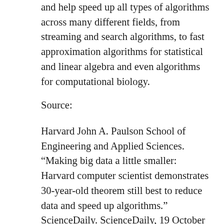and help speed up all types of algorithms across many different fields, from streaming and search algorithms, to fast approximation algorithms for statistical and linear algebra and even algorithms for computational biology.
Source:
Harvard John A. Paulson School of Engineering and Applied Sciences. “Making big data a little smaller: Harvard computer scientist demonstrates 30-year-old theorem still best to reduce data and speed up algorithms.” ScienceDaily. ScienceDaily, 19 October 2017. <www.sciencedaily.com/releases/2017/10/171019101026.htm>.